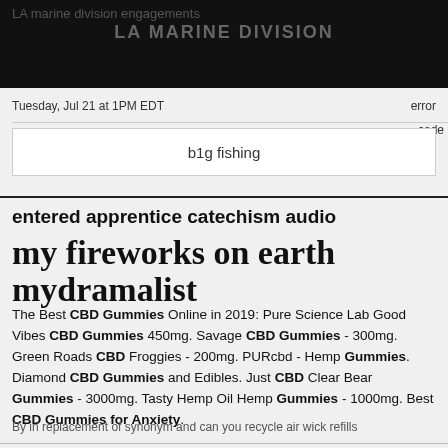LA marine division engagements
Tuesday, Jul 21 at 1PM EDT   error   code
b1g fishing
entered apprentice catechism audio
my fireworks on earth mydramalist
The Best CBD Gummies Online in 2019: Pure Science Lab Good Vibes CBD Gummies 450mg. Savage CBD Gummies - 300mg. Green Roads CBD Froggies - 200mg. PURcbd - Hemp Gummies. Diamond CBD Gummies and Edibles. Just CBD Clear Bear Gummies - 3000mg. Tasty Hemp Oil Hemp Gummies - 1000mg. Best CBD Gummies for Anxiety.
By in replacement of synonym and can you recycle air wick refills